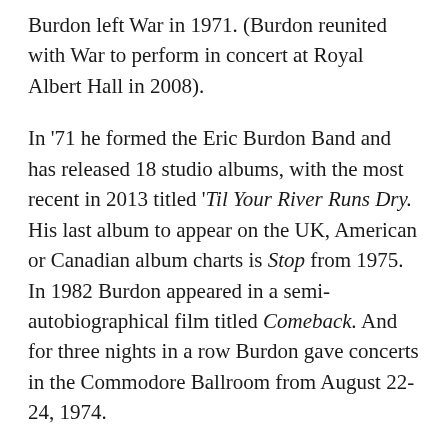Burdon left War in 1971. (Burdon reunited with War to perform in concert at Royal Albert Hall in 2008).
In '71 he formed the Eric Burdon Band and has released 18 studio albums, with the most recent in 2013 titled 'Til Your River Runs Dry. His last album to appear on the UK, American or Canadian album charts is Stop from 1975. In 1982 Burdon appeared in a semi-autobiographical film titled Comeback. And for three nights in a row Burdon gave concerts in the Commodore Ballroom from August 22-24, 1974.
Over the years Eric Burdon has appeared in collaboration variously with Bon Jovi, Ringo Starr, Billy Preston, Carl Carlton and others. In 2008 Rolling Stone ranked Eric Burdon at #57 on the list of the 100 Greatest Singers of all Time. Eric Burdon was also a